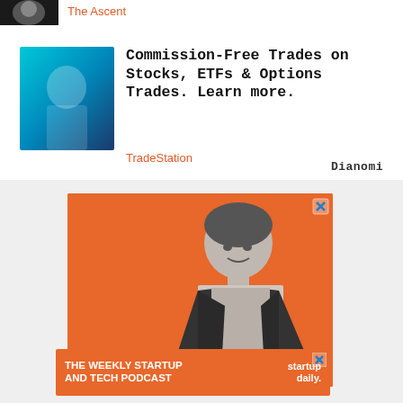[Figure (photo): Small dark thumbnail image at top left, partial view of a person]
The Ascent
[Figure (photo): Blue-toned thumbnail of a person thinking, used as ad image for TradeStation]
Commission-Free Trades on Stocks, ETFs & Options Trades. Learn more.
TradeStation
Dianomi
[Figure (photo): Orange background advertisement featuring a man in a suit smiling, for The Weekly Startup and Tech Podcast by startup daily]
THE WEEKLY STARTUP AND TECH PODCAST